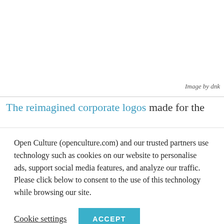[Figure (photo): White/blank image area at the top of the page]
Image by dnk
The reimagined corporate logos made for the
Open Culture (openculture.com) and our trusted partners use technology such as cookies on our website to personalise ads, support social media features, and analyze our traffic. Please click below to consent to the use of this technology while browsing our site.
Cookie settings  ACCEPT